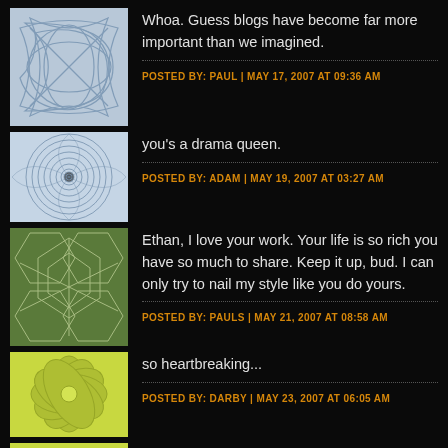[Figure (illustration): Abstract swirling lines pattern on light blue background]
Whoa. Guess blogs have become far more important than we imagined.
POSTED BY: PAUL | MAY 17, 2007 AT 09:36 AM
[Figure (illustration): Spiral sunflower pattern on light blue background]
you's a drama queen.
POSTED BY: ADAM | MAY 19, 2007 AT 03:27 AM
[Figure (illustration): Voronoi cell pattern on green background]
Ethan, I love your work. Your life is so rich you have so much to share. Keep it up, bud. I can only try to nail my style like you do yours.
POSTED BY: PAULS | MAY 21, 2007 AT 08:58 AM
[Figure (illustration): Floral radial pattern on yellow-green background]
so heartbreaking...
POSTED BY: DARBY | MAY 23, 2007 AT 06:05 AM
[Figure (illustration): Starburst floral pattern on yellow-green background]
It's amazing how those thoughts we send out into the world grow teeth and come back to bite us.